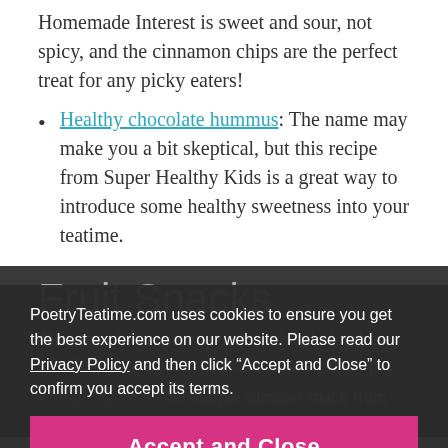Homemade Interest is sweet and sour, not spicy, and the cinnamon chips are the perfect treat for any picky eaters!
Healthy chocolate hummus: The name may make you a bit skeptical, but this recipe from Super Healthy Kids is a great way to introduce some healthy sweetness into your teatime.
Fruit Snacks
These snacks are sure to come in handy for those s... Give your fruit an upgrade with these recipes.
Pan fried ci... ber simple summer snack from Dizzy Busy & Hungry only calls
PoetryTeatime.com uses cookies to ensure you get the best experience on our website. Please read our Privacy Policy and then click “Accept and Close” to confirm you accept its terms.
Accept and Close